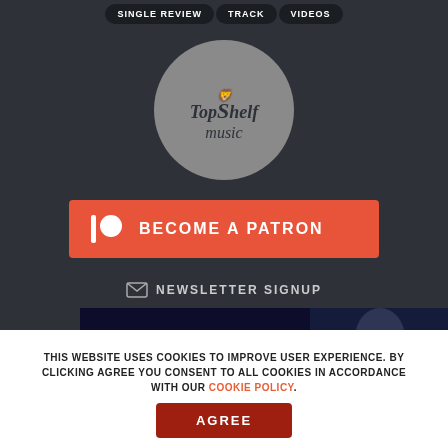SINGLE REVIEW | TRACK | VIDEOS
[Figure (logo): TopShelf Music circular logo with lion icon on gray background]
[Figure (infographic): Patreon button - BECOME A PATRON with Patreon icon on orange/red background]
✉ NEWSLETTER SIGNUP
[Figure (screenshot): Video thumbnail showing a music video with a woman and city lights at night, with YouTube play button overlay]
THIS WEBSITE USES COOKIES TO IMPROVE USER EXPERIENCE. BY CLICKING AGREE YOU CONSENT TO ALL COOKIES IN ACCORDANCE WITH OUR COOKIE POLICY.
AGREE